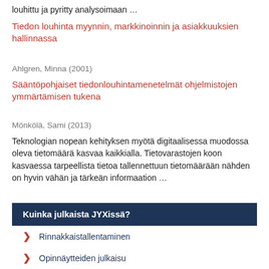louhittu ja pyritty analysoimaan …
Tiedon louhinta myynnin, markkinoinnin ja asiakkuuksien hallinnassa
Ahlgren, Minna (2001)
Sääntöpohjaiset tiedonlouhintamenetelmät ohjelmistojen ymmärtämisen tukena
Mönkölä, Sami (2013)
Teknologian nopean kehityksen myötä digitaalisessa muodossa oleva tietomäärä kasvaa kaikkialla. Tietovarastojen koon kasvaessa tarpeellista tietoa tallennettuun tietomäärään nähden on hyvin vähän ja tärkeän informaation …
Kuinka julkaista JYXissä?
Rinnakkaistallentaminen
Opinnäytteiden julkaisu